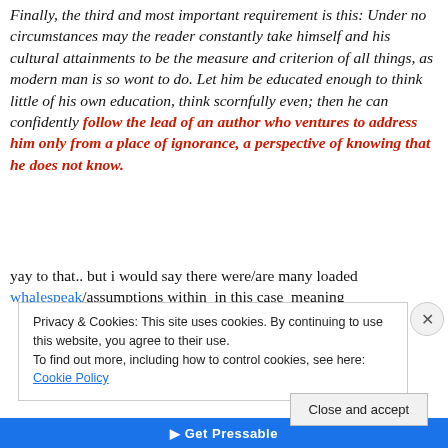Finally, the third and most important requirement is this: Under no circumstances may the reader constantly take himself and his cultural attainments to be the measure and criterion of all things, as modern man is so wont to do. Let him be educated enough to think little of his own education, think scornfully even; then he can confidently follow the lead of an author who ventures to address him only from a place of ignorance, a perspective of knowing that he does not know.
yay to that.. but i would say there were/are many loaded whalespeak/assumptions within  in this case  meaning
Privacy & Cookies: This site uses cookies. By continuing to use this website, you agree to their use.
To find out more, including how to control cookies, see here: Cookie Policy
Close and accept
[Figure (other): Pressable promotional bar at bottom of page]